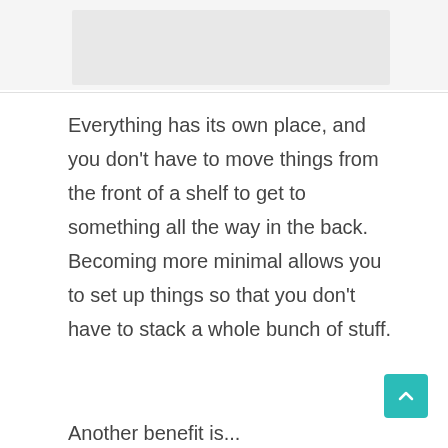[Figure (other): Top image area with a light gray rectangle placeholder]
Everything has its own place, and you don't have to move things from the front of a shelf to get to something all the way in the back. Becoming more minimal allows you to set up things so that you don't have to stack a whole bunch of stuff.
Another benefit is...